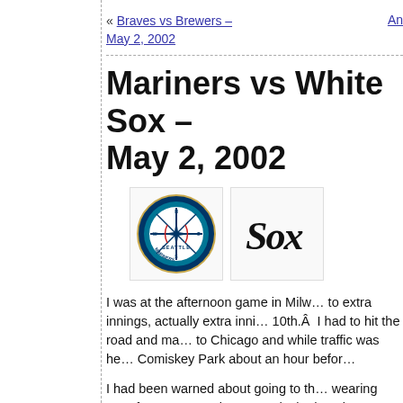« Braves vs Brewers – May 2, 2002   An…
Mariners vs White Sox – May 2, 2002
[Figure (logo): Seattle Mariners logo (circular navy blue logo with compass/baseball design) and Chicago White Sox logo (cursive Sox in black)]
I was at the afternoon game in Milw… to extra innings, actually extra inni… 10th.Â  I had to hit the road and ma… to Chicago and while traffic was he… Comiskey Park about an hour befor…
I had been warned about going to th… wearing gear from an opposing tea… decked out in Mariner's blue!Â  Co… park!Â  The upper deck seems to ju… I had th…